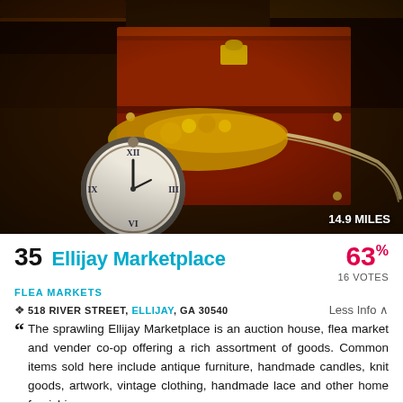[Figure (photo): Photo of antique treasure chest with vintage pocket watch, gold jewelry, and leather chest boxes on dark background. Shows '14.9 MILES' badge in lower right corner.]
35 Ellijay Marketplace
63% 16 VOTES
FLEA MARKETS
518 RIVER STREET, ELLIJAY, GA 30540   Less Info ^
The sprawling Ellijay Marketplace is an auction house, flea market and vender co-op offering a rich assortment of goods. Common items sold here include antique furniture, handmade candles, knit goods, artwork, vintage clothing, handmade lace and other home furnishings.